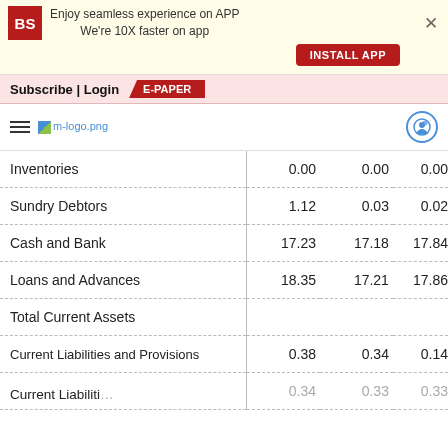[Figure (screenshot): Business Standard app install banner with BS logo, text 'Enjoy seamless experience on APP We're 10X faster on app', INSTALL APP button, and X close button]
Subscribe | Login
E-PAPER
[Figure (logo): Hamburger menu icon and m-logo.png placeholder image with user icon on right]
|  |  |  |  |
| --- | --- | --- | --- |
| Inventories | 0.00 | 0.00 | 0.00 |
| Sundry Debtors | 1.12 | 0.03 | 0.02 |
| Cash and Bank | 17.23 | 17.18 | 17.84 |
| Loans and Advances | 18.35 | 17.21 | 17.86 |
| Total Current Assets |  |  |  |
| Current Liabilities and Provisions | 0.38 | 0.34 | 0.14 |
| Current Liabilities | 0.34 | 0.33 | 0.33 |